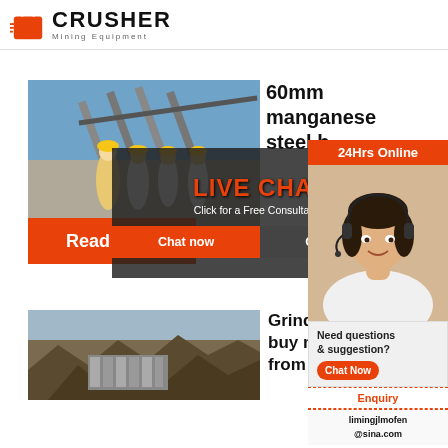[Figure (logo): Crusher Mining Equipment logo with red shopping bag icon and bold text]
[Figure (photo): Mining site with conveyor belts and workers in yellow hard hats]
60mm manganese steel b...
[Figure (screenshot): Live Chat popup overlay with 'LIVE CHAT' in red text, 'Click for a Free Consultation', Chat now and Chat later buttons, and a headset customer service woman on the right]
Read More
[Figure (photo): Customer service representative wearing headset, smiling]
24Hrs Online
Need questions & suggestion?
Chat Now
Enquiry
limingjlmofen@sina.com
[Figure (photo): Mining excavation site with rocky terrain and equipment]
Grinding... buy me... from Mo...